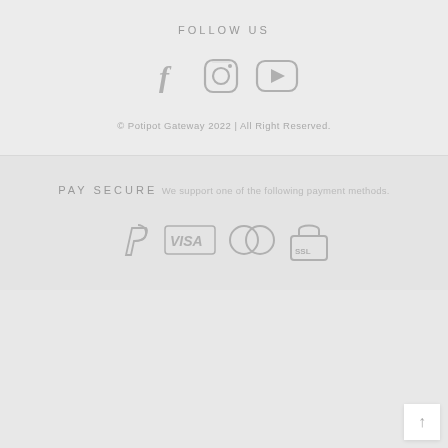FOLLOW US
[Figure (illustration): Three social media icons: Facebook (f), Instagram (camera), YouTube (play button in rounded square)]
© Potipot Gateway 2022 | All Right Reserved.
PAY SECURE
We support one of the following payment methods.
[Figure (illustration): Payment method icons: PayPal, VISA, Mastercard (two overlapping circles), SSL lock badge]